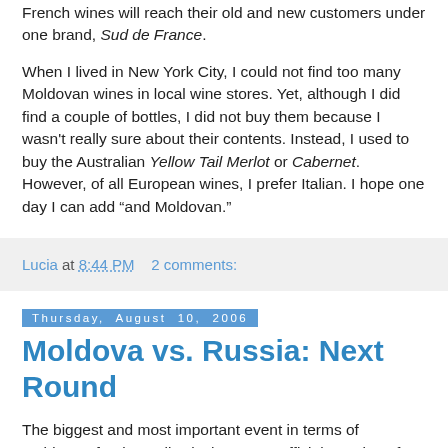French wines will reach their old and new customers under one brand, Sud de France.
When I lived in New York City, I could not find too many Moldovan wines in local wine stores. Yet, although I did find a couple of bottles, I did not buy them because I wasn't really sure about their contents. Instead, I used to buy the Australian Yellow Tail Merlot or Cabernet. However, of all European wines, I prefer Italian. I hope one day I can add “and Moldovan.”
Lucia at 8:44 PM    2 comments:
Thursday, August 10, 2006
Moldova vs. Russia: Next Round
The biggest and most important event in terms of Moldova's foreign policy is the recent official meeting of the Moldovan President Voronin with the Russian President Putin that took place in Moscow. Its importance derives from the fact that the relations between these two countries have been tense